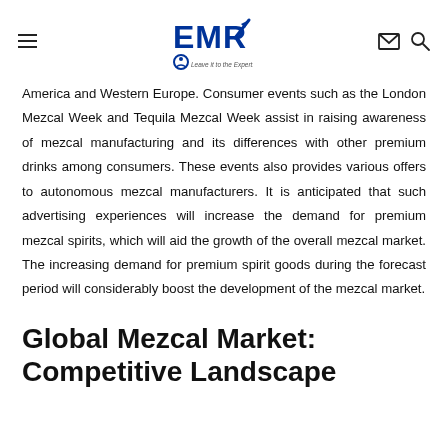EMR — Leave it to the Experts
America and Western Europe. Consumer events such as the London Mezcal Week and Tequila Mezcal Week assist in raising awareness of mezcal manufacturing and its differences with other premium drinks among consumers. These events also provides various offers to autonomous mezcal manufacturers. It is anticipated that such advertising experiences will increase the demand for premium mezcal spirits, which will aid the growth of the overall mezcal market. The increasing demand for premium spirit goods during the forecast period will considerably boost the development of the mezcal market.
Global Mezcal Market: Competitive Landscape